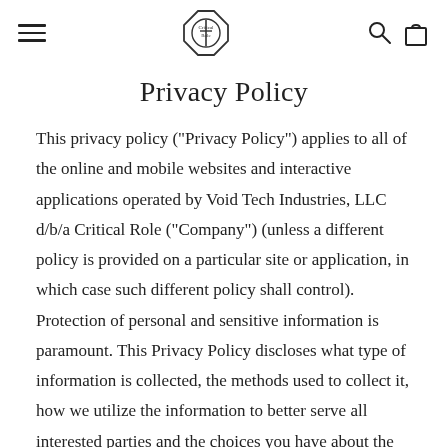Critical Role navigation header with hamburger menu, logo, search and cart icons
Privacy Policy
This privacy policy (“Privacy Policy”) applies to all of the online and mobile websites and interactive applications operated by Void Tech Industries, LLC d/b/a Critical Role (“Company”) (unless a different policy is provided on a particular site or application, in which case such different policy shall control). Protection of personal and sensitive information is paramount. This Privacy Policy discloses what type of information is collected, the methods used to collect it, how we utilize the information to better serve all interested parties and the choices you have about the way your information is collected and used. Please read this